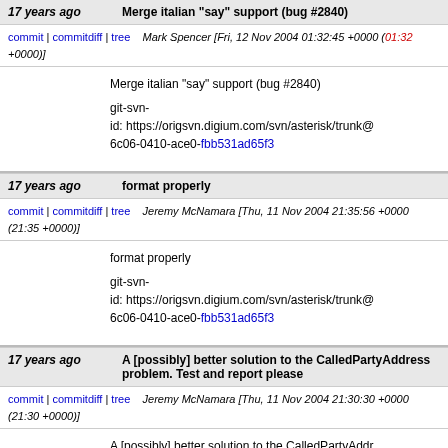17 years ago  Merge italian "say" support (bug #2840)
commit | commitdiff | tree   Mark Spencer [Fri, 12 Nov 2004 01:32:45 +0000 (01:32 +0000)]
Merge italian "say" support (bug #2840)

git-svn-id: https://origsvn.digium.com/svn/asterisk/trunk@6c06-0410-ace0-fbb531ad65f3
17 years ago  format properly
commit | commitdiff | tree   Jeremy McNamara [Thu, 11 Nov 2004 21:35:56 +0000 (21:35 +0000)]
format properly

git-svn-id: https://origsvn.digium.com/svn/asterisk/trunk@6c06-0410-ace0-fbb531ad65f3
17 years ago  A [possibly] better solution to the CalledPartyAddress problem. Test and report please
commit | commitdiff | tree   Jeremy McNamara [Thu, 11 Nov 2004 21:30:30 +0000 (21:30 +0000)]
A [possibly] better solution to the CalledPartyAddr...